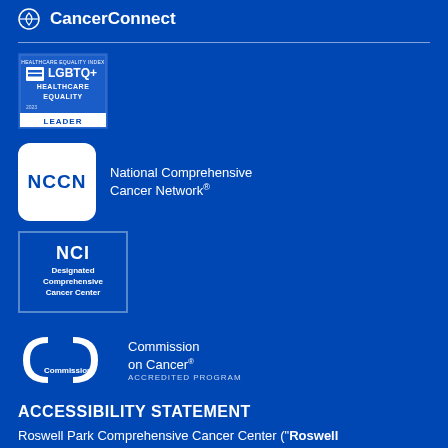CancerConnect
[Figure (logo): LGBTQ+ Healthcare Equality Leader badge - Healthcare Equality Index 2023]
[Figure (logo): NCCN - National Comprehensive Cancer Network logo]
[Figure (logo): NCI Designated Comprehensive Cancer Center badge]
[Figure (logo): Commission on Cancer Accredited Program logo]
ACCESSIBILITY STATEMENT
Roswell Park Comprehensive Cancer Center (“Roswell